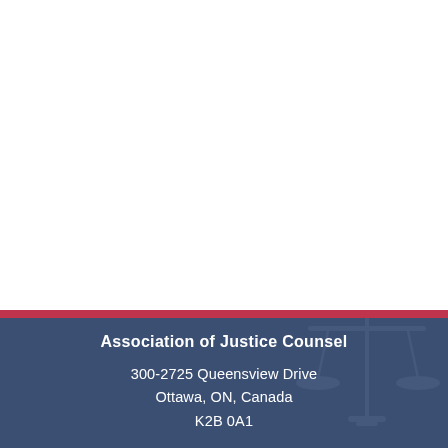[Figure (illustration): White background area occupying the upper portion of the page, with a thin red stripe separating it from the dark blue footer.]
Association of Justice Counsel
300-2725 Queensview Drive
Ottawa, ON, Canada
K2B 0A1